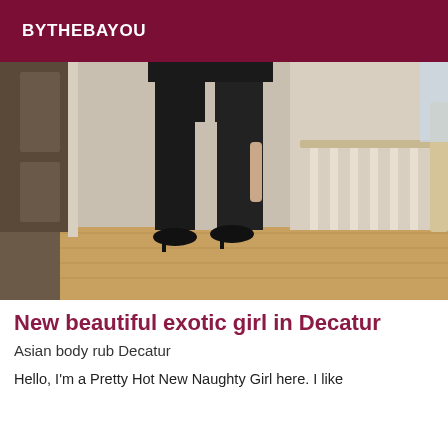BYTHEBAYOU
[Figure (photo): A person dressed in black standing in a hallway near wooden stairs and railings, photographed from the neck down.]
New beautiful exotic girl in Decatur
Asian body rub Decatur
Hello, I'm a Pretty Hot New Naughty Girl here. I like